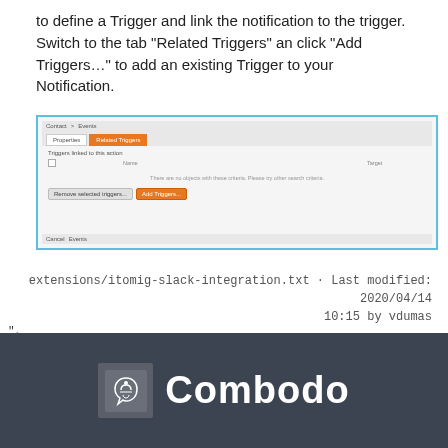to define a Trigger and link the notification to the trigger. Switch to the tab “Related Triggers” an click “Add Triggers…” to add an existing Trigger to your Notification.
[Figure (screenshot): Screenshot of a software UI showing a notification configuration dialog with tabs 'Properties' and 'Related Triggers'. The 'Related Triggers' tab is active (orange). A table area shows 'Triggers linked to this action' with an empty state message. Buttons 'Remove selected triggers...' and 'Add Triggers...' are shown at the bottom.]
extensions/itomig-slack-integration.txt · Last modified: 2020/04/14 10:15 by vdumas
”,
3
[Figure (logo): Combodo logo: white text 'Combodo' with a grey box containing a white horse/centaur icon, on dark grey background.]